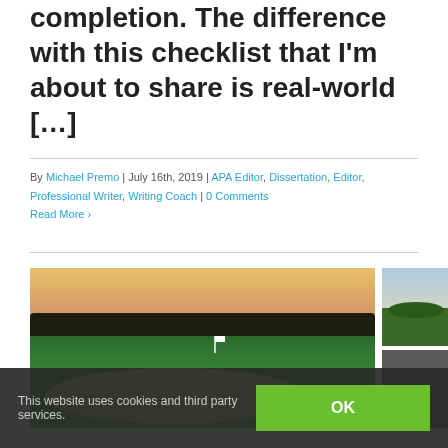completion. The difference with this checklist that I'm about to share is real-world […]
By Michael Premo | July 16th, 2019 | APA Editor, Dissertation, Editor, Professional Writer, Writing Coach | 0 Comments
Read More ›
[Figure (photo): Golf course with sand bunker, green fairway, trees silhouetted against sunset sky. Partial second image showing green golf course with cloudy sky.]
This website uses cookies and third party services.